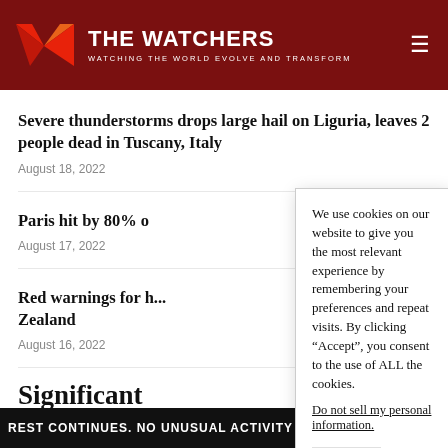THE WATCHERS — WATCHING THE WORLD EVOLVE AND TRANSFORM
Severe thunderstorms drops large hail on Liguria, leaves 2 people dead in Tuscany, Italy
August 18, 2022
Paris hit by 80% o
August 17, 2022
Red warnings for h... Zealand
August 16, 2022
We use cookies on our website to give you the most relevant experience by remembering your preferences and repeat visits. By clicking “Accept”, you consent to the use of ALL the cookies.
Do not sell my personal information.
Significant
REST CONTINUES. NO UNUSUAL ACTIVITY OBSERVED IN SATE